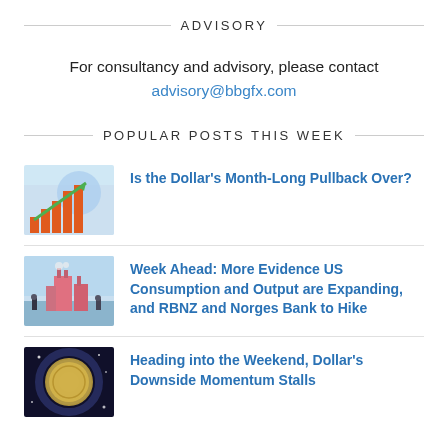ADVISORY
For consultancy and advisory, please contact advisory@bbgfx.com
POPULAR POSTS THIS WEEK
[Figure (illustration): Bar chart with upward arrow on globe background — financial growth illustration]
Is the Dollar's Month-Long Pullback Over?
[Figure (illustration): Industrial/factory scene with figures — economic output illustration]
Week Ahead: More Evidence US Consumption and Output are Expanding, and RBNZ and Norges Bank to Hike
[Figure (illustration): Abstract coin/galaxy background illustration]
Heading into the Weekend, Dollar's Downside Momentum Stalls